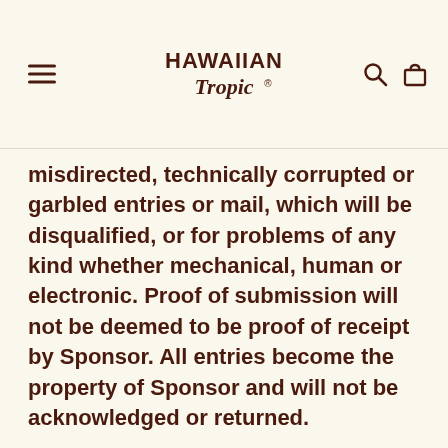Hawaiian Tropic
misdirected, technically corrupted or garbled entries or mail, which will be disqualified, or for problems of any kind whether mechanical, human or electronic. Proof of submission will not be deemed to be proof of receipt by Sponsor. All entries become the property of Sponsor and will not be acknowledged or returned.
By submitting an entry, Entrant warrants and represents that he or she and the person tagged, or any other third-party who appears in or is identifiable in the entry consent to the submission and use of the entry and any information